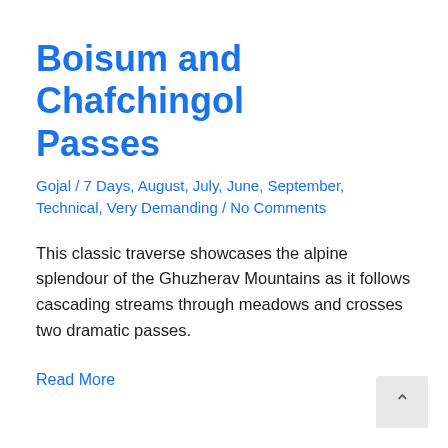Boisum and Chafchingol Passes
Gojal / 7 Days, August, July, June, September, Technical, Very Demanding / No Comments
This classic traverse showcases the alpine splendour of the Ghuzherav Mountains as it follows cascading streams through meadows and crosses two dramatic passes.
Read More